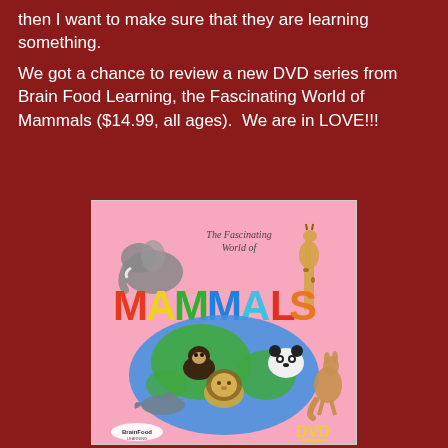then I want to make sure that they are learning something.
We got a chance to review a new DVD series from Brain Food Learning, the Fascinating World of Mammals ($14.99, all ages).  We are in LOVE!!!
[Figure (photo): DVD cover for 'The Fascinating World of Mammals' from Brain Food Learning. Pink background with colorful MAMMALS text, a globe with various animals including an elephant, giraffe, chimpanzee, panda, lion, dolphin, and kangaroo. BrainFood Learning logo bottom left, DVD logo bottom right.]